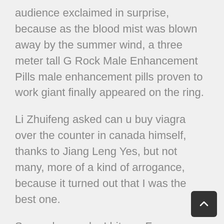audience exclaimed in surprise, because as the blood mist was blown away by the summer wind, a three meter tall G Rock Male Enhancement Pills male enhancement pills proven to work giant finally appeared on the ring.
Li Zhuifeng asked can u buy viagra over the counter in canada himself, thanks to Jiang Leng Yes, but not many, more of a kind of arrogance, because it turned out that I was the best one.
So you know why I hit you Fang Haoran looked at the concubine with a serious tone I have already given the heavy gift.
To gods, these people are chicken, duck, fish and other ingredients.It is